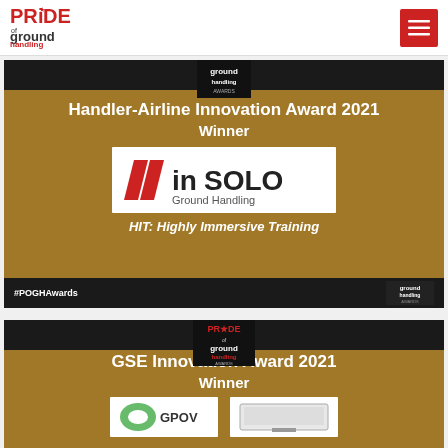[Figure (logo): PRIDE of Ground Handling Awards logo in red and black text]
[Figure (other): Handler-Airline Innovation Award 2021 Winner card with In Solo Ground Handling logo on golden/dark background]
[Figure (other): GSE Innovation Award 2021 Winner card with logos on golden/dark background, partially visible]